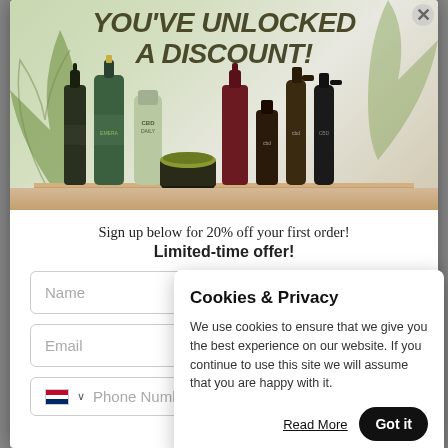[Figure (screenshot): Modal popup showing a discount offer with CBD/wellness product bottles and a cookie consent overlay. The banner shows text 'YOU'VE UNLOCKED A DISCOUNT!' above product bottles. Below is a signup form with Name, Email, and Phone Number fields. A cookie consent popup overlays the right side.]
YOU'VE UNLOCKED A DISCOUNT!
Sign up below for 20% off your first order!
Limited-time offer!
Cookies & Privacy
We use cookies to ensure that we give you the best experience on our website. If you continue to use this site we will assume that you are happy with it.
Read More
Got it